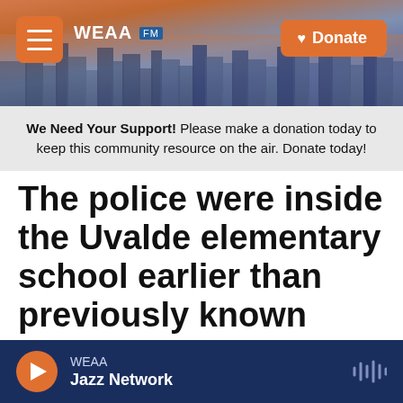[Figure (screenshot): WEAA radio station website header banner showing city skyline at dusk with hamburger menu button, WEAA logo, and orange Donate button]
We Need Your Support! Please make a donation today to keep this community resource on the air. Donate today!
The police were inside the Uvalde elementary school earlier than previously known
WEAA Jazz Network